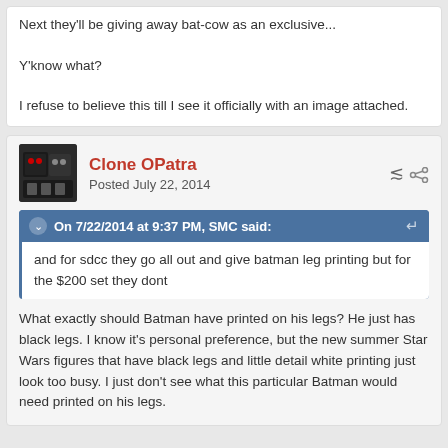Next they'll be giving away bat-cow as an exclusive...

Y'know what?

I refuse to believe this till I see it officially with an image attached.
Clone OPatra
Posted July 22, 2014
On 7/22/2014 at 9:37 PM, SMC said:
and for sdcc they go all out and give batman leg printing but for the $200 set they dont
What exactly should Batman have printed on his legs? He just has black legs. I know it's personal preference, but the new summer Star Wars figures that have black legs and little detail white printing just look too busy. I just don't see what this particular Batman would need printed on his legs.